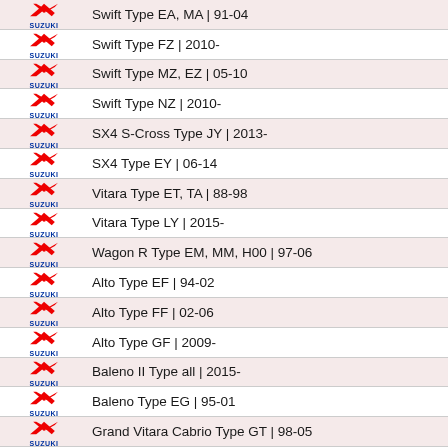Swift Type EA, MA | 91-04
Swift Type FZ | 2010-
Swift Type MZ, EZ | 05-10
Swift Type NZ | 2010-
SX4 S-Cross Type JY | 2013-
SX4 Type EY | 06-14
Vitara Type ET, TA | 88-98
Vitara Type LY | 2015-
Wagon R Type EM, MM, H00 | 97-06
Alto Type EF | 94-02
Alto Type FF | 02-06
Alto Type GF | 2009-
Baleno II Type all | 2015-
Baleno Type EG | 95-01
Grand Vitara Cabrio Type GT | 98-05